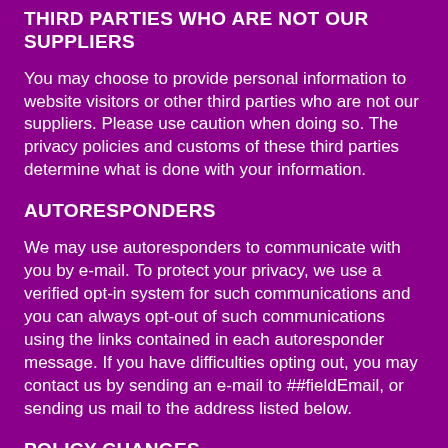THIRD PARTIES WHO ARE NOT OUR SUPPLIERS
You may choose to provide personal information to website visitors or other third parties who are not our suppliers. Please use caution when doing so. The privacy policies and customs of these third parties determine what is done with your information.
AUTORESPONDERS
We may use autoresponders to communicate with you by e-mail. To protect your privacy, we use a verified opt-in system for such communications and you can always opt-out of such communications using the links contained in each autoresponder message. If you have difficulties opting out, you may contact us by sending an e-mail to ##fieldEmail, or sending us mail to the address listed below.
POLICY CHANGES
The terms of this policy may change from time to time. If such changes are made, we will notify you by a notice